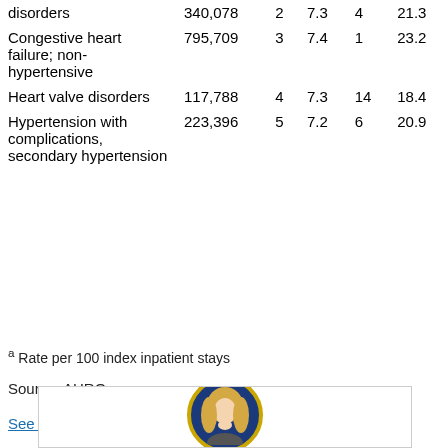| Condition | Stays (n) | Rank | Mean LOS (days) | Rank | Readmission rate (%)^a |
| --- | --- | --- | --- | --- | --- |
| disorders | 340,078 | 2 | 7.3 | 4 | 21.3 |
| Congestive heart failure; non-hypertensive | 795,709 | 3 | 7.4 | 1 | 23.2 |
| Heart valve disorders | 117,788 | 4 | 7.3 | 14 | 18.4 |
| Hypertension with complications, secondary hypertension | 223,396 | 5 | 7.2 | 6 | 20.9 |
a Rate per 100 index inpatient stays
Source: AHRQ
See additional details
[Figure (photo): Portrait photo of a woman with blonde hair in a circular frame with gold border on blue background, partially visible at bottom of page]